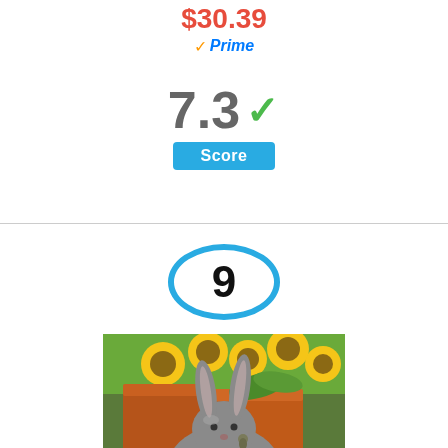$30.39
Prime
7.3
Score
[Figure (infographic): Number 9 inside a light blue circle, representing a rank or position badge]
[Figure (photo): A grey rabbit garden statue sitting outdoors with yellow sunflowers and a terracotta pot in the background]